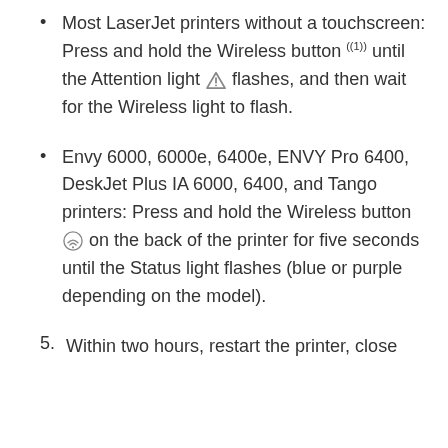Most LaserJet printers without a touchscreen: Press and hold the Wireless button until the Attention light flashes, and then wait for the Wireless light to flash.
Envy 6000, 6000e, 6400e, ENVY Pro 6400, DeskJet Plus IA 6000, 6400, and Tango printers: Press and hold the Wireless button on the back of the printer for five seconds until the Status light flashes (blue or purple depending on the model).
5. Within two hours, restart the printer, close